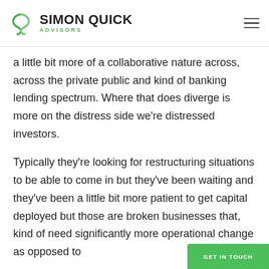SIMON QUICK ADVISORS
a little bit more of a collaborative nature across, across the private public and kind of banking lending spectrum. Where that does diverge is more on the distress side we're distressed investors.
Typically they're looking for restructuring situations to be able to come in but they've been waiting and they've been a little bit more patient to get capital deployed but those are broken businesses that, kind of need significantly more operational change as opposed to